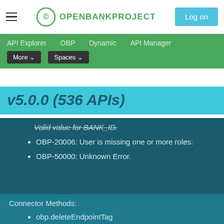OPENBANKPROJECT | Log on
API Explorer  OBP  Dynamic  API Manager  More  Spaces
v5.0.0 (536 APIs)
Valid value for BANK_ID.
OBP-20006: User is missing one or more roles:
OBP-50000: Unknown Error.
Connector Methods:
obp.deleteEndpointTag
obp.getEndpointTagById